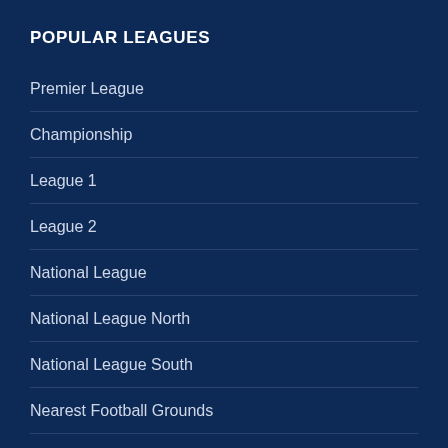POPULAR LEAGUES
Premier League
Championship
League 1
League 2
National League
National League North
National League South
Nearest Football Grounds
View All Grounds
STATS